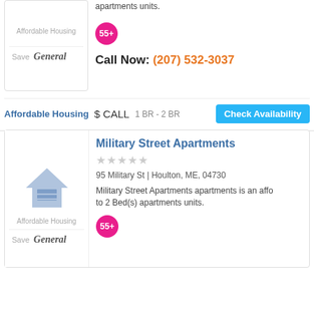apartments units.
55+
Call Now: (207) 532-3037
Affordable Housing
Save
General
Affordable Housing $ CALL 1 BR - 2 BR
Check Availability
Military Street Apartments
★★★★★
95 Military St | Houlton, ME, 04730
Military Street Apartments apartments is an affo... to 2 Bed(s) apartments units.
55+
Affordable Housing
Save
General